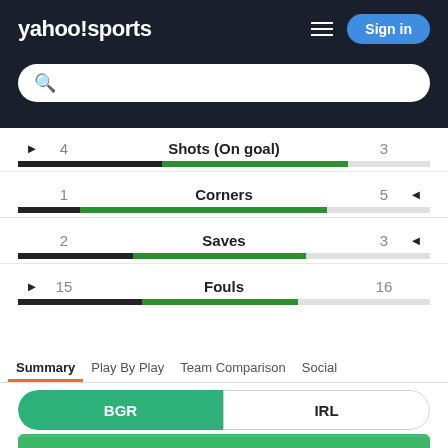yahoo!sports
[Figure (screenshot): Search bar with purple search icon]
| Left Arrow | Left Value | Stat | Right Value | Right Arrow |
| --- | --- | --- | --- | --- |
| ▶ | 4 | Shots (On goal) | 3 |  |
|  | 1 | Corners | 5 | ◀ |
|  | 2 | Saves | 3 | ◀ |
| ▶ | 15 | Fouls | 16 |  |
Summary
Play By Play
Team Comparison
Social
[Figure (infographic): Team toggle: BGR (green active) vs IRL (white)]
[Figure (illustration): Soccer field illustration at bottom]